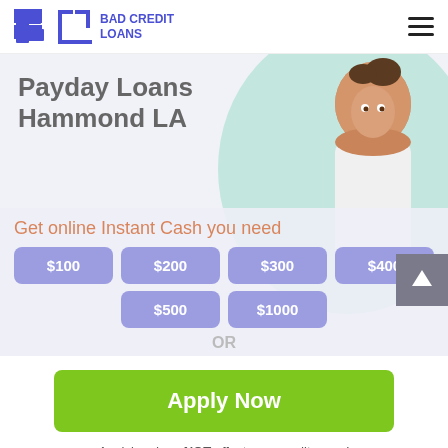BAD CREDIT LOANS
Payday Loans Hammond LA
Get online Instant Cash you need
$100 $200 $300 $400 $500 $1000
OR
Apply Now
Applying does NOT affect your credit score! No credit check to apply.